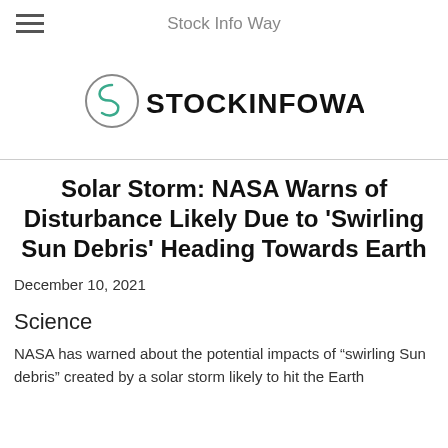Stock Info Way
[Figure (logo): STOCKINFOWAY logo with circular S icon on left and bold text STOCKINFOWAY on right]
Solar Storm: NASA Warns of Disturbance Likely Due to ‘Swirling Sun Debris’ Heading Towards Earth
December 10, 2021
Science
NASA has warned about the potential impacts of “swirling Sun debris” created by a solar storm likely to hit the Earth